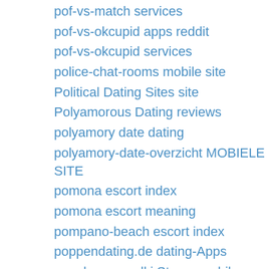pof-vs-match services
pof-vs-okcupid apps reddit
pof-vs-okcupid services
police-chat-rooms mobile site
Political Dating Sites site
Polyamorous Dating reviews
polyamory date dating
polyamory-date-overzicht MOBIELE SITE
pomona escort index
pomona escort meaning
pompano-beach escort index
poppendating.de dating-Apps
popularne-randki Strona mobilna
port-st-lucie eros escort
portland escort index